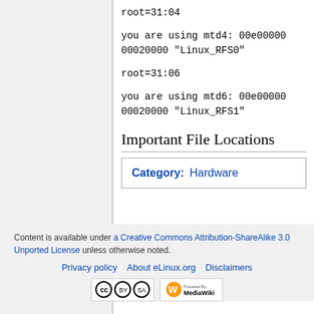root=31:04
you are using mtd4: 00e00000 00020000 "Linux_RFS0"
root=31:06
you are using mtd6: 00e00000 00020000 "Linux_RFS1"
Important File Locations
| Category: | Hardware |
| --- | --- |
Content is available under a Creative Commons Attribution-ShareAlike 3.0 Unported License unless otherwise noted.
Privacy policy   About eLinux.org   Disclaimers